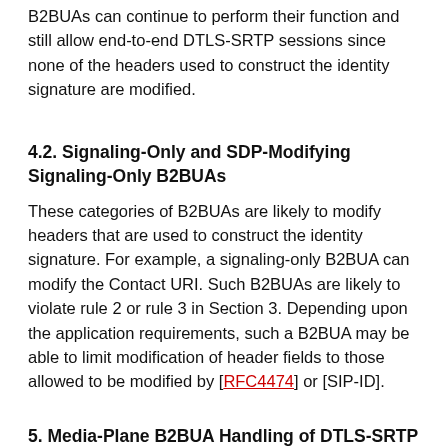B2BUAs can continue to perform their function and still allow end-to-end DTLS-SRTP sessions since none of the headers used to construct the identity signature are modified.
4.2. Signaling-Only and SDP-Modifying Signaling-Only B2BUAs
These categories of B2BUAs are likely to modify headers that are used to construct the identity signature. For example, a signaling-only B2BUA can modify the Contact URI. Such B2BUAs are likely to violate rule 2 or rule 3 in Section 3. Depending upon the application requirements, such a B2BUA may be able to limit modification of header fields to those allowed to be modified by [RFC4474] or [SIP-ID].
5. Media-Plane B2BUA Handling of DTLS-SRTP
5.1. General